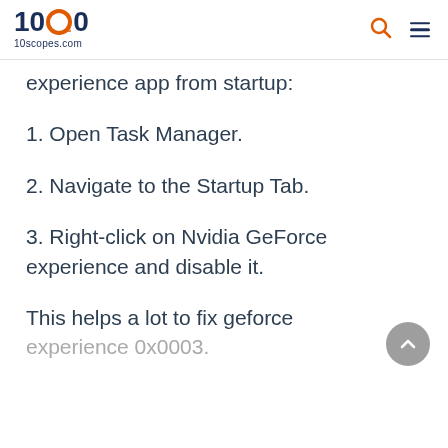[Figure (logo): 10scopes.com logo with stylized 100 text and orange ring, with search and hamburger menu icons on the right]
experience app from startup:
1. Open Task Manager.
2. Navigate to the Startup Tab.
3. Right-click on Nvidia GeForce experience and disable it.
This helps a lot to fix geforce experience 0x0003.